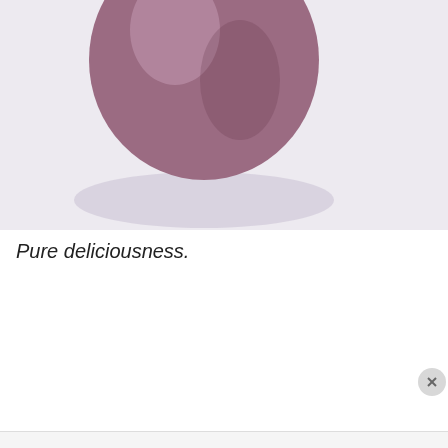[Figure (photo): A purple/mauve ceramic bowl or vase, partially visible at the top of the image, on a light grey-white surface. The bottom rounded portion of the vessel is shown with shadow below it.]
Pure deliciousness.
Privacy & Cookies: This site uses cookies. By continuing to use this website, you agree to their use.
To find out more, including how to control cookies, see here: Cookie Policy
Close and accept